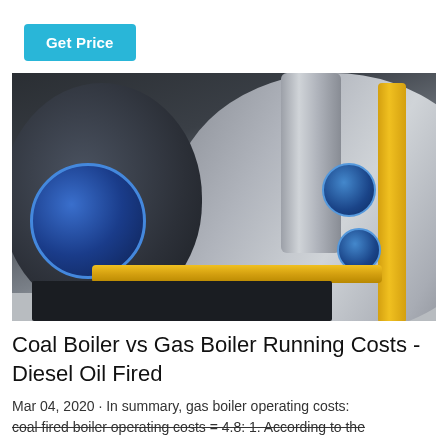Get Price
[Figure (photo): Industrial boiler room showing two large boilers: a dark cylindrical boiler on the left with a blue circular burner/motor assembly, a silver horizontal boiler in the center, and yellow gas pipes running horizontally and vertically on the right side with blue valves and silver ductwork.]
Coal Boiler vs Gas Boiler Running Costs - Diesel Oil Fired
Mar 04, 2020 · In summary, gas boiler operating costs: coal fired boiler operating costs = 4.8: 1. According to the